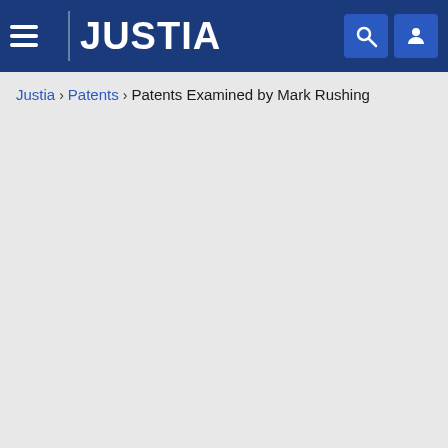JUSTIA
Justia › Patents › Patents Examined by Mark Rushing